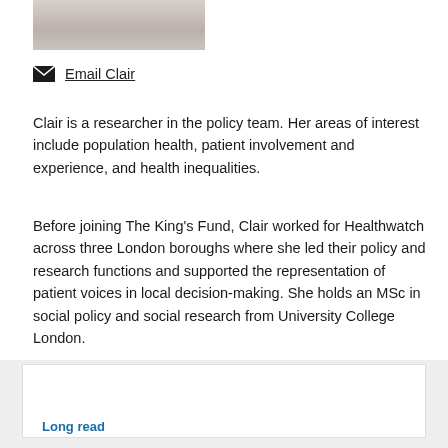[Figure (photo): Partial photo of a person at the top of the page]
Email Clair
Clair is a researcher in the policy team. Her areas of interest include population health, patient involvement and experience, and health inequalities.
Before joining The King's Fund, Clair worked for Healthwatch across three London boroughs where she led their policy and research functions and supported the representation of patient voices in local decision-making. She holds an MSc in social policy and social research from University College London.
Long read